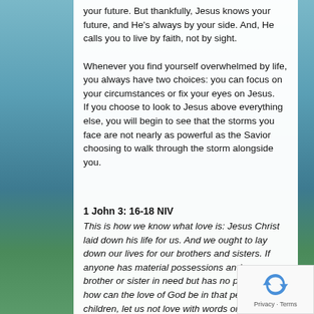your future. But thankfully, Jesus knows your future, and He's always by your side. And, He calls you to live by faith, not by sight.
Whenever you find yourself overwhelmed by life, you always have two choices: you can focus on your circumstances or fix your eyes on Jesus. If you choose to look to Jesus above everything else, you will begin to see that the storms you face are not nearly as powerful as the Savior choosing to walk through the storm alongside you.
1 John 3: 16-18 NIV
This is how we know what love is: Jesus Christ laid down his life for us. And we ought to lay down our lives for our brothers and sisters. If anyone has material possessions and sees a brother or sister in need but has no pity on them, how can the love of God be in that person? Dear children, let us not love with words or speech but with actions and in truth.